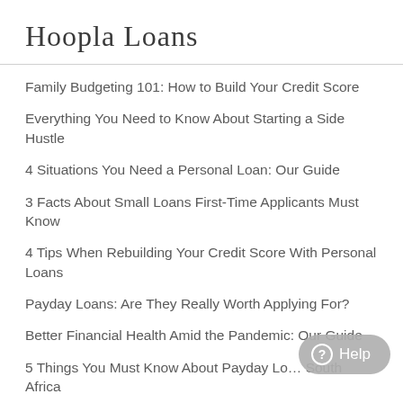Hoopla Loans
Family Budgeting 101: How to Build Your Credit Score
Everything You Need to Know About Starting a Side Hustle
4 Situations You Need a Personal Loan: Our Guide
3 Facts About Small Loans First-Time Applicants Must Know
4 Tips When Rebuilding Your Credit Score With Personal Loans
Payday Loans: Are They Really Worth Applying For?
Better Financial Health Amid the Pandemic: Our Guide
5 Things You Must Know About Payday Loans in South Africa
2 Associated Factors That Don't Affect Your Credit